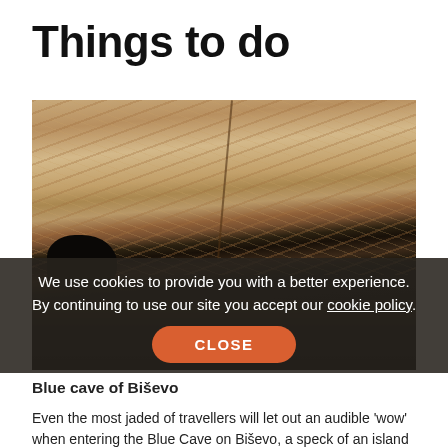Things to do
[Figure (photo): Rocky cliff face of Biševo island with a dark cave opening at the bottom left and dark water below]
We use cookies to provide you with a better experience. By continuing to use our site you accept our cookie policy.
Blue cave of Biševo
Even the most jaded of travellers will let out an audible 'wow' when entering the Blue Cave on Biševo, a speck of an island off the